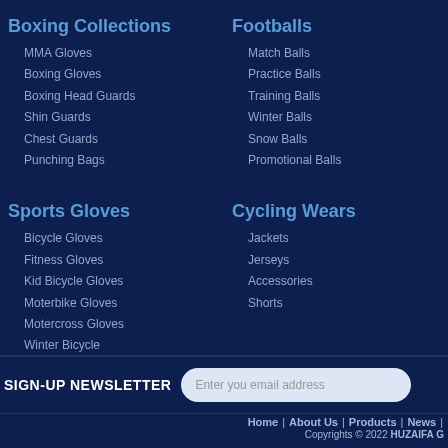Boxing Collections
MMA Gloves
Boxing Gloves
Boxing Head Guards
Shin Guards
Chest Guards
Punching Bags
Sports Gloves
Bicycle Gloves
Fitness Gloves
Kid Bicycle Gloves
Moterbike Gloves
Motercross Gloves
Winter Bicycle
Footballs
Match Balls
Practice Balls
Training Balls
Winter Balls
Snow Balls
Promotional Balls
Cycling Wears
Jackets
Jerseys
Accessories
Shorts
SIGN-UP NEWSLETTER
Enter you email address
Home | About Us | Products | News |
Copyrights © 2022 HUZAIFA G